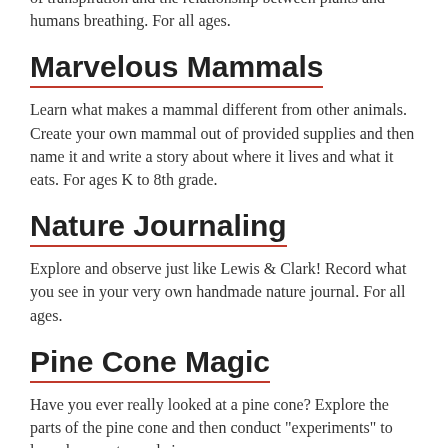of transpiration and the relationship between plants and humans breathing. For all ages.
Marvelous Mammals
Learn what makes a mammal different from other animals. Create your own mammal out of provided supplies and then name it and write a story about where it lives and what it eats. For ages K to 8th grade.
Nature Journaling
Explore and observe just like Lewis & Clark! Record what you see in your very own handmade nature journal. For all ages.
Pine Cone Magic
Have you ever really looked at a pine cone? Explore the parts of the pine cone and then conduct "experiments" to learn how water and air